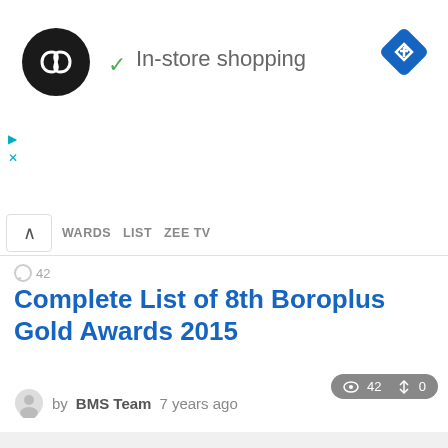[Figure (screenshot): Ad banner: black circular logo with infinity-like symbol, green checkmark, text 'In-store shopping', blue diamond navigation icon, teal play/close buttons]
WARDS   LIST   ZEE TV
42
Complete List of 8th Boroplus Gold Awards 2015
by BMS Team 7 years ago
© 42  ↕ 0
ENTERTAINMENT   TRENDING   DIRECTOR   FACTS   FAVOURITE   IMTIAZ ALI   YOUTH
31
8 Unknown Facts About The Youth's Favorite Director Imtiaz Ali